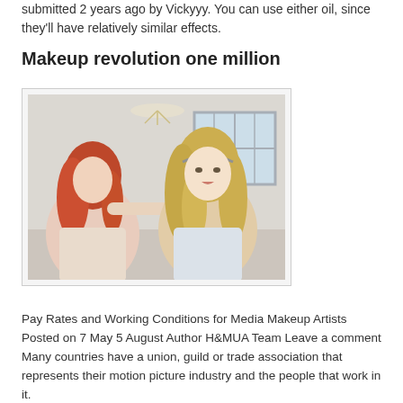submitted 2 years ago by Vickyyy. You can use either oil, since they'll have relatively similar effects.
Makeup revolution one million
[Figure (photo): A woman with red hair applying makeup to another woman with long blonde wavy hair, in a bright room with a window in the background.]
Pay Rates and Working Conditions for Media Makeup Artists Posted on 7 May 5 August Author H&MUA Team Leave a comment Many countries have a union, guild or trade association that represents their motion picture industry and the people that work in it.